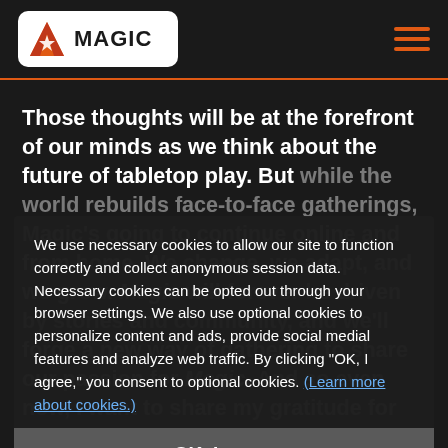MAGIC (logo header with hamburger menu)
Those thoughts will be at the forefront of our minds as we think about the future of tabletop play. But while the world rebuilds face-to-face gatherings, Magic's going to continue online and from home. We change, we adapt, and we grow.
We use necessary cookies to allow our site to function correctly and collect anonymous session data. Necessary cookies can be opted out through your browser settings. We also use optional cookies to personalize content and ads, provide social medial features and analyze web traffic. By clicking "OK, I agree," you consent to optional cookies. (Learn more about cookies.)
OK, I agree
No, thanks